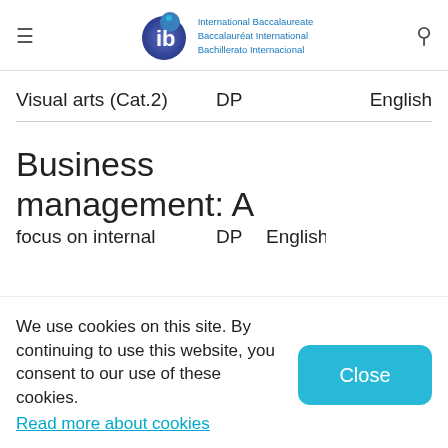International Baccalaureate Baccalauréat International Bachillerato Internacional
Visual arts (Cat.2)   DP   English
Business management: A
focus on internal   DP   English
We use cookies on this site. By continuing to use this website, you consent to our use of these cookies. Read more about cookies